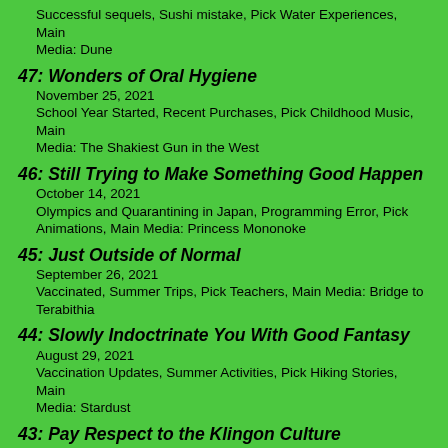Successful sequels, Sushi mistake, Pick Water Experiences, Main Media: Dune
47: Wonders of Oral Hygiene
November 25, 2021
School Year Started, Recent Purchases, Pick Childhood Music, Main Media: The Shakiest Gun in the West
46: Still Trying to Make Something Good Happen
October 14, 2021
Olympics and Quarantining in Japan, Programming Error, Pick Animations, Main Media: Princess Mononoke
45: Just Outside of Normal
September 26, 2021
Vaccinated, Summer Trips, Pick Teachers, Main Media: Bridge to Terabithia
44: Slowly Indoctrinate You With Good Fantasy
August 29, 2021
Vaccination Updates, Summer Activities, Pick Hiking Stories, Main Media: Stardust
43: Pay Respect to the Klingon Culture
August 6, 2021
Ryan's Flight, Vaccinations, Purchasing an iPad, Pick Strategy Foreign Foods, Main Media: A Matter of Honor
Full episode list
All 61 of our episodes